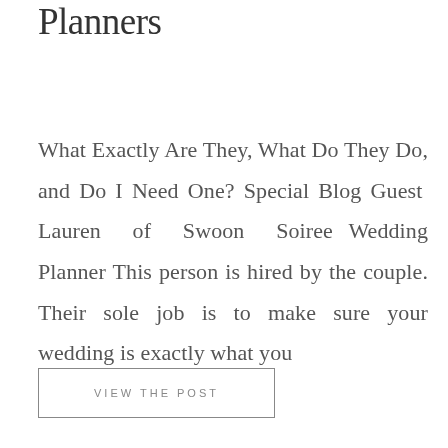Planners
What Exactly Are They, What Do They Do, and Do I Need One? Special Blog Guest Lauren of Swoon Soiree Wedding Planner This person is hired by the couple. Their sole job is to make sure your wedding is exactly what you
VIEW THE POST